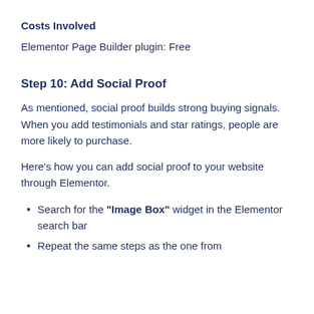Costs Involved
Elementor Page Builder plugin: Free
Step 10: Add Social Proof
As mentioned, social proof builds strong buying signals. When you add testimonials and star ratings, people are more likely to purchase.
Here's how you can add social proof to your website through Elementor.
Search for the "Image Box" widget in the Elementor search bar
Repeat the same steps as the one from...